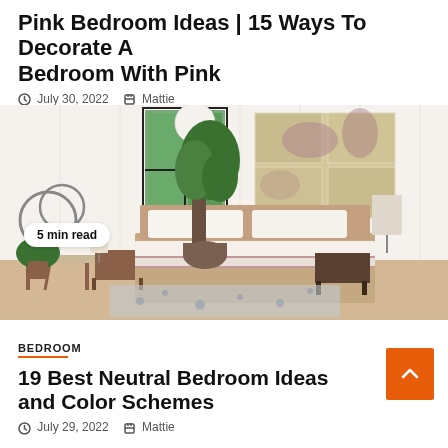Pink Bedroom Ideas | 15 Ways To Decorate A Bedroom With Pink
July 30, 2022   Mattie
[Figure (photo): Bedroom interior with a low platform bed with pink/mauve and white bedding, large fiddle-leaf fig tree plant, abstract wall art panels in muted pink and gold, wooden nightstands, pendant globe light, and a patterned rug on light hardwood floors. Badge reading '5 min read'.]
BEDROOM
19 Best Neutral Bedroom Ideas and Color Schemes
July 29, 2022   Mattie